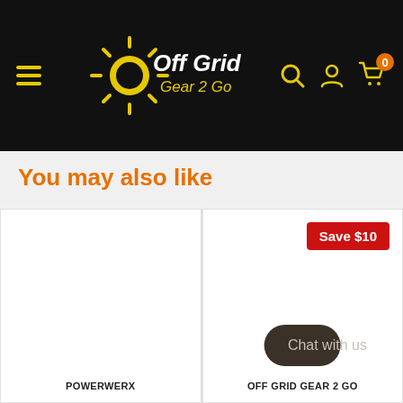[Figure (logo): Off Grid Gear 2 Go website header with black navigation bar, hamburger menu, Off Grid Gear 2 Go logo (yellow sun with white italic text), and yellow search, account, cart icons with orange badge showing 0]
You may also like
[Figure (screenshot): Two product cards side by side. Left card: POWERWERX brand, white background, no image. Right card: OFF GRID GEAR 2 GO brand, white background, Save $10 red badge, Chat with us dark button overlay.]